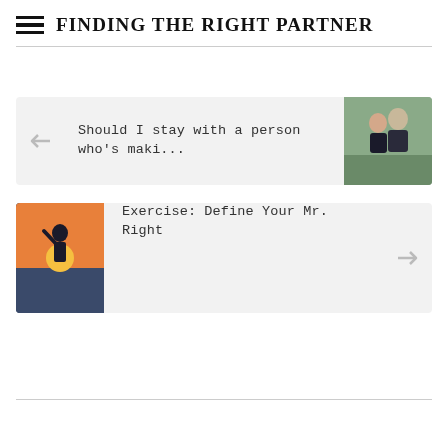FINDING THE RIGHT PARTNER
Should I stay with a person who's maki...
Exercise: Define Your Mr. Right